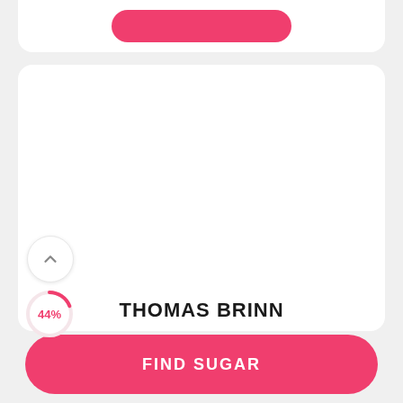[Figure (screenshot): Top portion of a white card with a pink rounded button, partially cropped at top]
[Figure (screenshot): Main white card with a chevron-up circle icon and a partial arc donut showing 44% in pink, and the name THOMAS BRINN at the bottom]
44%
THOMAS BRINN
FIND SUGAR